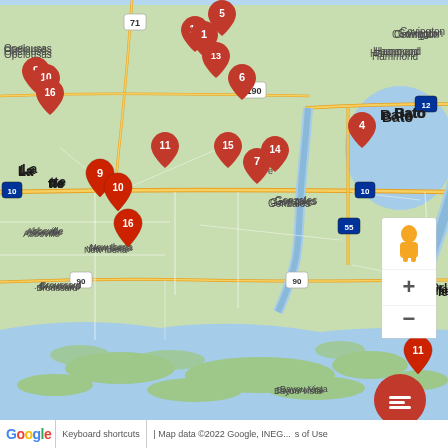[Figure (map): Google Maps view of southern Louisiana showing numbered red location markers (1-16) placed across cities including Baton Rouge, New Orleans, Lafayette, Gonzales, Thibodaux, Morgan City, and surrounding areas. Map includes road networks, waterways, Lake Pontchartrain, and Gulf Coast wetlands. Controls include zoom buttons and street view icon. Google branding at bottom.]